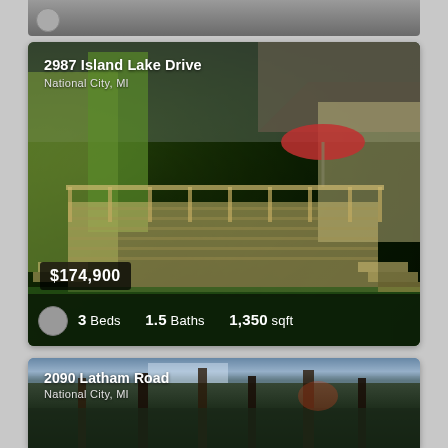[Figure (photo): Partial top of a real estate listing card showing a house exterior photo with a small avatar icon at bottom left]
[Figure (photo): Real estate listing photo of 2987 Island Lake Drive showing a house with a large wooden deck and red patio umbrella surrounded by trees and green lawn]
2987 Island Lake Drive
National City, MI
$174,900
3 Beds  1.5 Baths  1,350 sqft
[Figure (photo): Partial bottom listing card showing 2090 Latham Road property with tall pine trees photo background]
2090 Latham Road
National City, MI